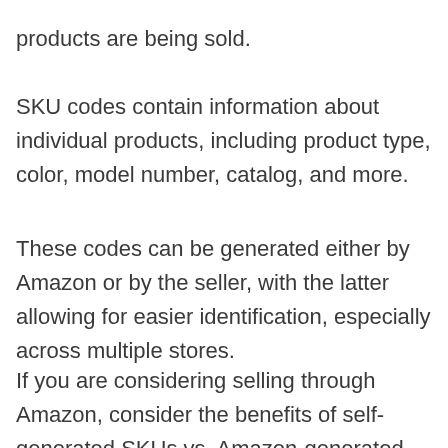products are being sold.
SKU codes contain information about individual products, including product type, color, model number, catalog, and more.
These codes can be generated either by Amazon or by the seller, with the latter allowing for easier identification, especially across multiple stores.
If you are considering selling through Amazon, consider the benefits of self-generated SKUs vs. Amazon-generated SKUs and look into SKU-allocation tools to help you with the process.